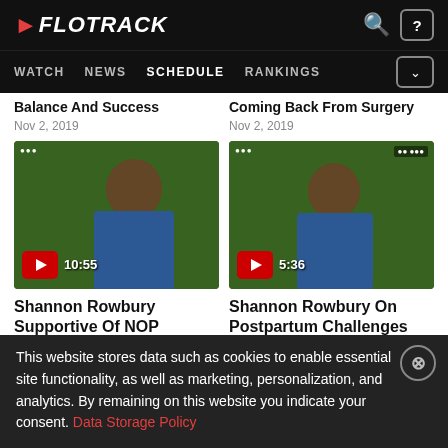FLOTRACK — WATCH | NEWS | SCHEDULE | RANKINGS
Balance And Success
Coming Back From Surgery
Nov 2, 2019
Nov 2, 2019
[Figure (screenshot): Video thumbnail of woman in blue jacket with green background, play button and duration 10:55]
[Figure (screenshot): Video thumbnail of woman in blue jacket with green background, play button and duration 5:36]
Shannon Rowbury Supportive Of NOP
Shannon Rowbury On Postpartum Challenges
This website stores data such as cookies to enable essential site functionality, as well as marketing, personalization, and analytics. By remaining on this website you indicate your consent. Data Storage Policy